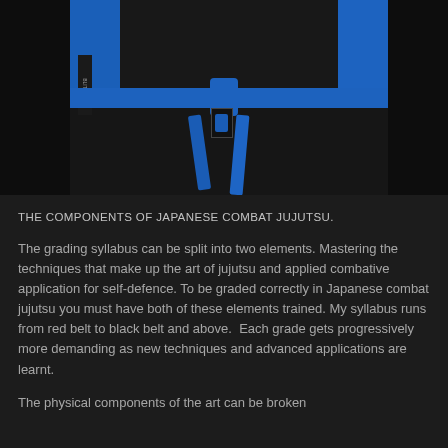[Figure (photo): Close-up of a person wearing a black jujutsu gi with a blue belt tied around the waist, showing the belt knot and hanging tails against the black uniform fabric. A small logo badge is visible.]
THE COMPONENTS OF JAPANESE COMBAT JUJUTSU.
The grading syllabus can be split into two elements. Mastering the techniques that make up the art of jujutsu and applied combative application for self-defence. To be graded correctly in Japanese combat jujutsu you must have both of these elements trained. My syllabus runs from red belt to black belt and above.  Each grade gets progressively more demanding as new techniques and advanced applications are learnt.
The physical components of the art can be broken